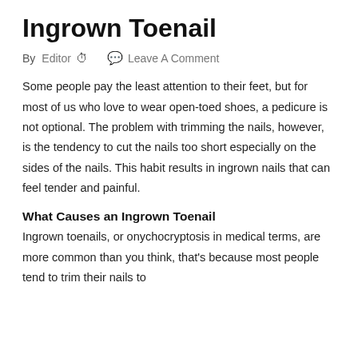Ingrown Toenail
By  Editor  ⊙       Leave A Comment
Some people pay the least attention to their feet, but for most of us who love to wear open-toed shoes, a pedicure is not optional. The problem with trimming the nails, however, is the tendency to cut the nails too short especially on the sides of the nails. This habit results in ingrown nails that can feel tender and painful.
What Causes an Ingrown Toenail
Ingrown toenails, or onychocryptosis in medical terms, are more common than you think, that's because most people tend to trim their nails to